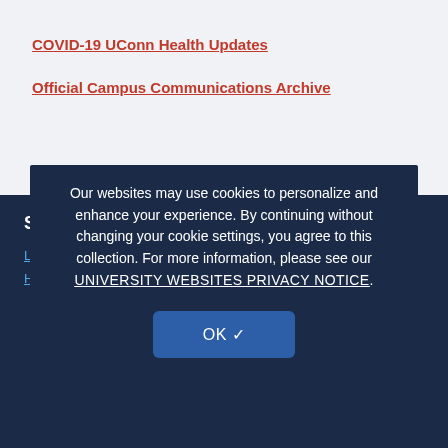COVID-19 UConn Health Updates
Official Campus Communications Archive
Student Information
Letter to ...
Home
Our websites may use cookies to personalize and enhance your experience. By continuing without changing your cookie settings, you agree to this collection. For more information, please see our UNIVERSITY WEBSITES PRIVACY NOTICE.
OK ✓
2020-08-12 | Student Quarantine